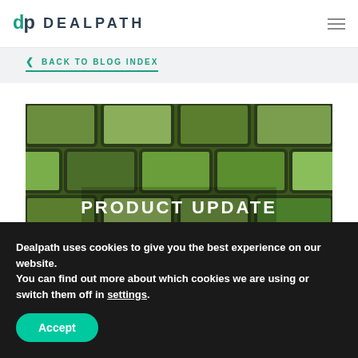DEALPATH
BACK TO BLOG INDEX
[Figure (photo): Green geometric brick wall pattern with text overlay reading PRODUCT UPDATE in white bold letters on center]
Dealpath uses cookies to give you the best experience on our website.
You can find out more about which cookies we are using or switch them off in settings.
Accept